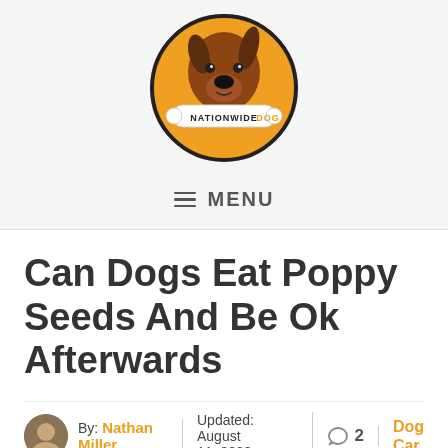[Figure (logo): NationwideDog logo: circular badge with orange background, brown Great Dane dog head, white bone with 'NATIONWIDE' in black and 'DOG' in orange text]
☰ MENU
Can Dogs Eat Poppy Seeds And Be Ok Afterwards
By: Nathan Miller  Updated: August 11, 2022  💬 2  Dog Care